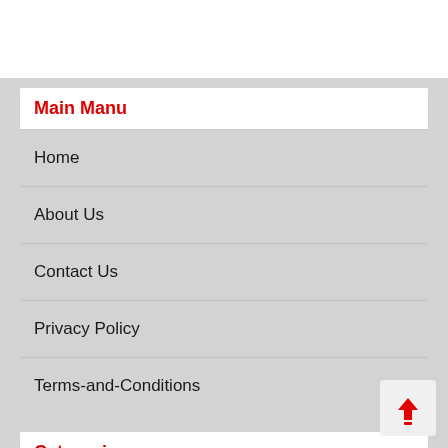Main Manu
Home
About Us
Contact Us
Privacy Policy
Terms-and-Conditions
Categories
Cars
Electric Cars